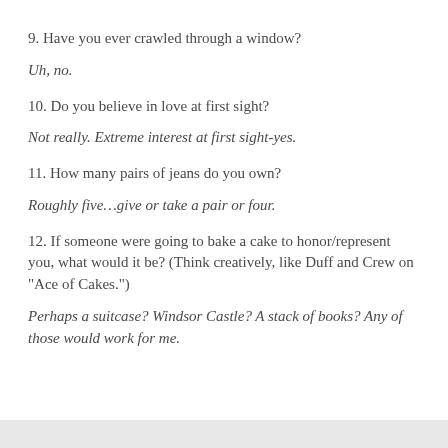9. Have you ever crawled through a window?
Uh, no.
10. Do you believe in love at first sight?
Not really. Extreme interest at first sight-yes.
11. How many pairs of jeans do you own?
Roughly five…give or take a pair or four.
12. If someone were going to bake a cake to honor/represent you, what would it be? (Think creatively, like Duff and Crew on "Ace of Cakes.")
Perhaps a suitcase? Windsor Castle? A stack of books? Any of those would work for me.